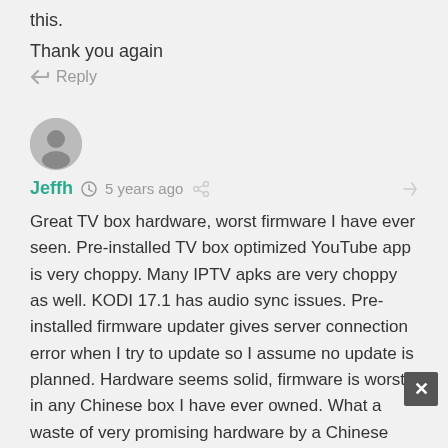this.
Thank you again
↪ Reply
Jeffh  🕐 5 years ago
Great TV box hardware, worst firmware I have ever seen. Pre-installed TV box optimized YouTube app is very choppy. Many IPTV apks are very choppy as well. KODI 17.1 has audio sync issues. Pre-installed firmware updater gives server connection error when I try to update so I assume no update is planned. Hardware seems solid, firmware is worst in any Chinese box I have ever owned. What a waste of very promising hardware by a Chinese company rushing a box with obviously broken firmware to market and not supporting it. I don't expect an update to Android 7…. Just fix… Read more »